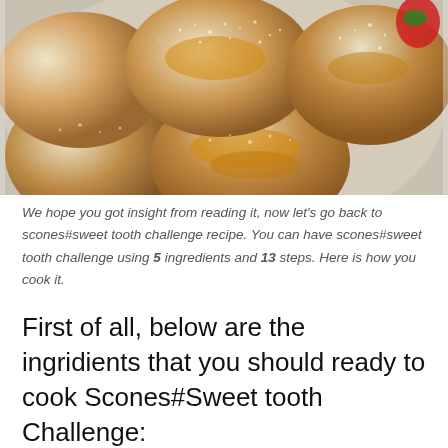[Figure (photo): Close-up photo of golden-brown scones dusted with powdered sugar on a white plate, with a strawberry visible in the background]
We hope you got insight from reading it, now let's go back to scones#sweet tooth challenge recipe. You can have scones#sweet tooth challenge using 5 ingredients and 13 steps. Here is how you cook it.
First of all, below are the ingridients that you should ready to cook Scones#Sweet tooth Challenge: